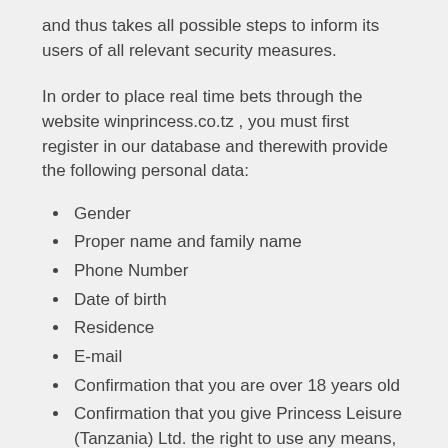and thus takes all possible steps to inform its users of all relevant security measures.
In order to place real time bets through the website winprincess.co.tz , you must first register in our database and therewith provide the following personal data:
Gender
Proper name and family name
Phone Number
Date of birth
Residence
E-mail
Confirmation that you are over 18 years old
Confirmation that you give Princess Leisure (Tanzania) Ltd. the right to use any means, it considers necessary to confirm your identity.
To offer User(s) with Content of WinPrincess.co.tz believes may interest such User(s), such as targeted advertising content or other commercial information